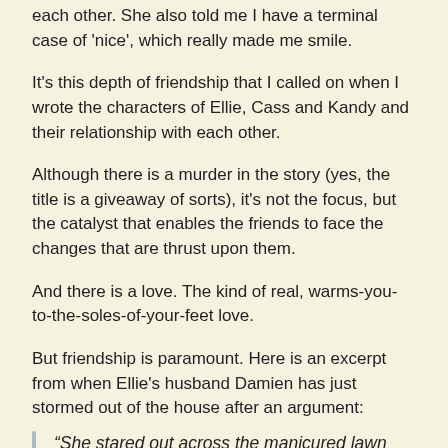each other. She also told me I have a terminal case of 'nice', which really made me smile.
It's this depth of friendship that I called on when I wrote the characters of Ellie, Cass and Kandy and their relationship with each other.
Although there is a murder in the story (yes, the title is a giveaway of sorts), it's not the focus, but the catalyst that enables the friends to face the changes that are thrust upon them.
And there is a love. The kind of real, warms-you-to-the-soles-of-your-feet love.
But friendship is paramount. Here is an excerpt from when Ellie's husband Damien has just stormed out of the house after an argument:
“She stared out across the manicured lawn and felt as though each perfect blade of grass was laid like a fence post to trap her. Trap her in a prison she was struggling to escape from but didn’t know how to put the key in the lock. Or even where the lock was.